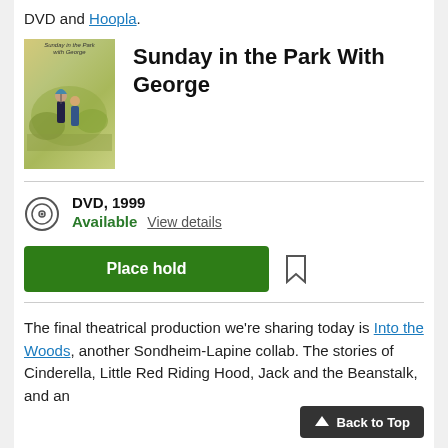DVD and Hoopla.
[Figure (illustration): DVD cover art for 'Sunday in the Park With George']
Sunday in the Park With George
DVD, 1999
Available   View details
Place hold
The final theatrical production we're sharing today is Into the Woods, another Sondheim-Lapine collab. The stories of Cinderella, Little Red Riding Hood, Jack and the Beanstalk, and an